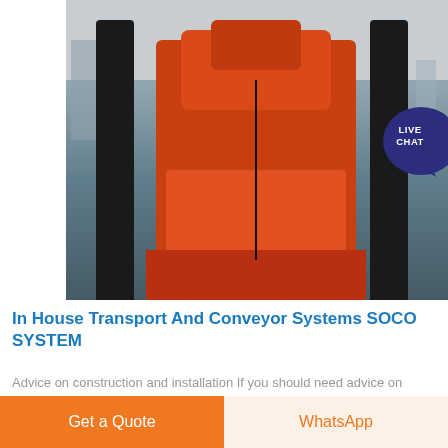[Figure (photo): Industrial conveyor/crane machinery with orange metal frame components and dark structural columns, photographed at an industrial site with buildings in the background. A 'LIVE CHAT' button overlay appears in the top-right corner.]
In House Transport And Conveyor Systems SOCO SYSTEM
Advice on construction and installation If you should need advice on choice construction and installation of conveyor systems conveying systems contact us for an informal chat with one of our consultants In order for us to deliver a well functioning conveyor system tailor made for your company needs it is essential to have a qualified dialogue between us